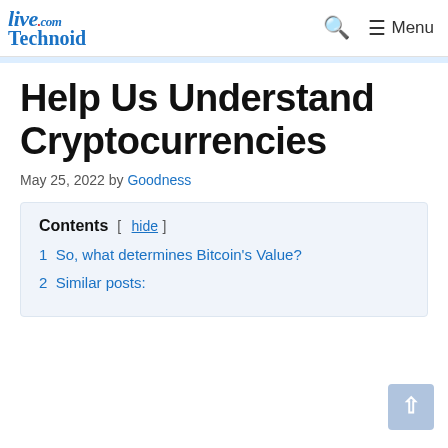LiveTechnoid.com — Menu
Help Us Understand Cryptocurrencies
May 25, 2022 by Goodness
| Contents |
| --- |
| 1  So, what determines Bitcoin's Value? |
| 2  Similar posts: |